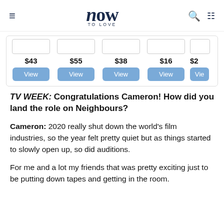now TO LOVE
[Figure (screenshot): Product listing strip showing prices $43, $55, $38, $16, $2... with blue View buttons]
TV WEEK: Congratulations Cameron! How did you land the role on Neighbours?
Cameron: 2020 really shut down the world's film industries, so the year felt pretty quiet but as things started to slowly open up, so did auditions.
For me and a lot my friends that was pretty exciting just to be putting down tapes and getting in the room.